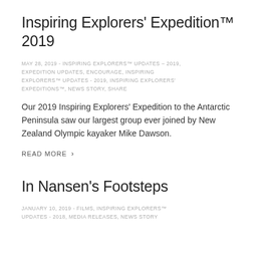Inspiring Explorers' Expedition™ 2019
MAY 28, 2019 - INSPIRING EXPLORERS™ UPDATES – 2019, EXPEDITION UPDATES, ENCOURAGE, INSPIRING EXPLORERS™ UPDATES - 2019, INSPIRING EXPLORERS' EXPEDITIONS™, NEWS STORY, SHARE
Our 2019 Inspiring Explorers' Expedition to the Antarctic Peninsula saw our largest group ever joined by New Zealand Olympic kayaker Mike Dawson.
READ MORE ›
In Nansen's Footsteps
JANUARY 10, 2019 - FILMS, INSPIRING EXPLORERS™ UPDATES - 2018, MEDIA RELEASES, NEWS STORY